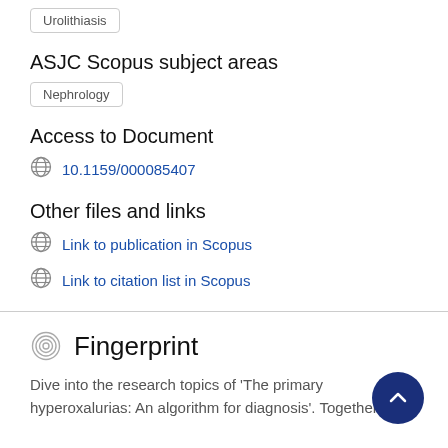Urolithiasis
ASJC Scopus subject areas
Nephrology
Access to Document
10.1159/000085407
Other files and links
Link to publication in Scopus
Link to citation list in Scopus
Fingerprint
Dive into the research topics of 'The primary hyperoxalurias: An algorithm for diagnosis'. Together they